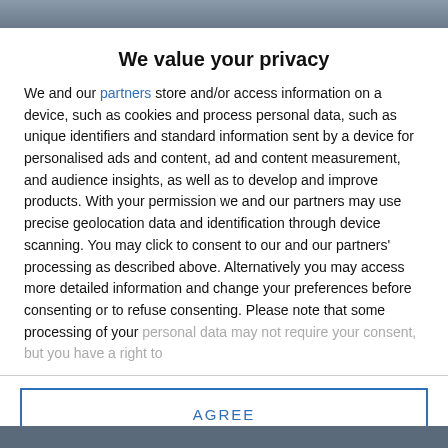[Figure (photo): Top portion of a background photo, partially visible]
We value your privacy
We and our partners store and/or access information on a device, such as cookies and process personal data, such as unique identifiers and standard information sent by a device for personalised ads and content, ad and content measurement, and audience insights, as well as to develop and improve products. With your permission we and our partners may use precise geolocation data and identification through device scanning. You may click to consent to our and our partners' processing as described above. Alternatively you may access more detailed information and change your preferences before consenting or to refuse consenting. Please note that some processing of your personal data may not require your consent, but you have a right to
AGREE
MORE OPTIONS
[Figure (photo): Bottom portion of a background photo, partially visible]